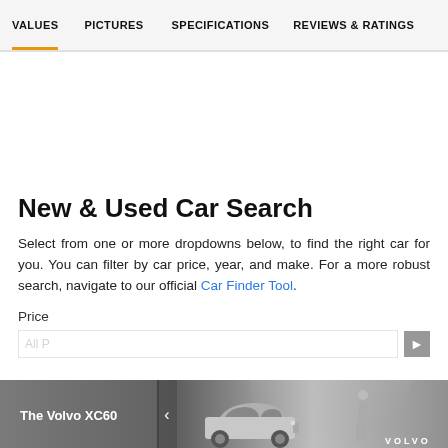VALUES | PICTURES | SPECIFICATIONS | REVIEWS & RATINGS
New & Used Car Search
Select from one or more dropdowns below, to find the right car for you. You can filter by car price, year, and make. For a more robust search, navigate to our official Car Finder Tool.
Price
[Figure (screenshot): Advertisement banner for The Volvo XC60 showing a silver SUV and a standing person with VOLVO logo]